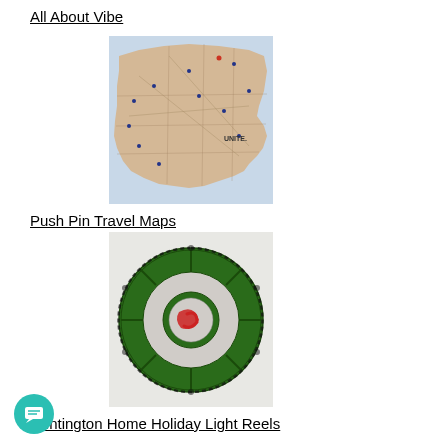All About Vibe
[Figure (map): Push pin map of the United States with pins marking various cities, labeled UNITE[D STATES] in lower right]
Push Pin Travel Maps
[Figure (photo): Green circular holiday light reel with red cord inside, used for storing Christmas lights]
Huntington Home Holiday Light Reels